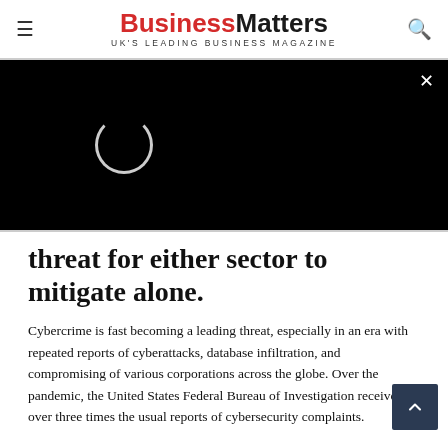BusinessMatters UK'S LEADING BUSINESS MAGAZINE
[Figure (screenshot): Black video player area with a loading spinner circle on the left and an X close button in the top right corner]
threat for either sector to mitigate alone.
Cybercrime is fast becoming a leading threat, especially in an era with repeated reports of cyberattacks, database infiltration, and compromising of various corporations across the globe. Over the pandemic, the United States Federal Bureau of Investigation received over three times the usual reports of cybersecurity complaints.